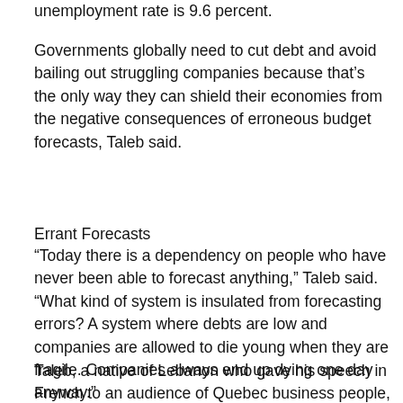unemployment rate is 9.6 percent.
Governments globally need to cut debt and avoid bailing out struggling companies because that’s the only way they can shield their economies from the negative consequences of erroneous budget forecasts, Taleb said.
Errant Forecasts
“Today there is a dependency on people who have never been able to forecast anything,” Taleb said. “What kind of system is insulated from forecasting errors? A system where debts are low and companies are allowed to die young when they are fragile. Companies always end up dying one day anyway.”
Taleb, a native of Lebanon who gave his speech in French to an audience of Quebec business people, said Canada’s